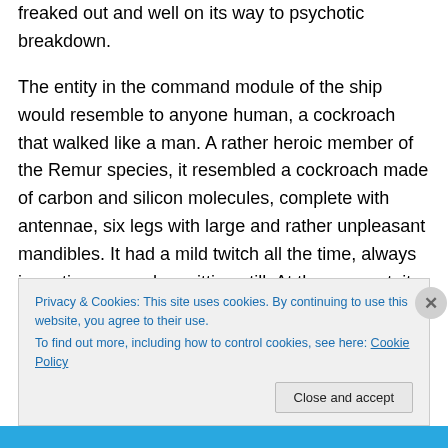freaked out and well on its way to psychotic breakdown.
The entity in the command module of the ship would resemble to anyone human, a cockroach that walked like a man. A rather heroic member of the Remur species, it resembled a cockroach made of carbon and silicon molecules, complete with antennae, six legs with large and rather unpleasant mandibles. It had a mild twitch all the time, always in motion even when sitting still. At the moment, it was preening its antennas while trying to appear nonchalant. The fact its antenna were begin passed through its mandibular area in a ritual of nervous
Privacy & Cookies: This site uses cookies. By continuing to use this website, you agree to their use. To find out more, including how to control cookies, see here: Cookie Policy
Close and accept